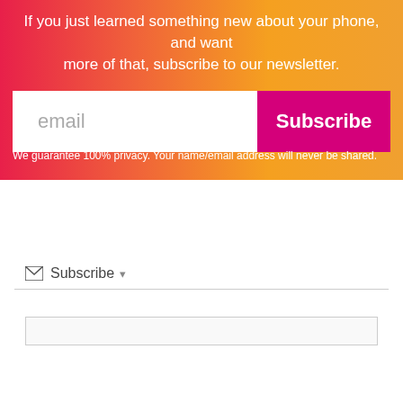If you just learned something new about your phone, and want more of that, subscribe to our newsletter.
[Figure (screenshot): Email input field with placeholder text 'email' and a pink/magenta 'Subscribe' button]
We guarantee 100% privacy. Your name/email address will never be shared.
✉ Subscribe ▾
[Figure (screenshot): An empty input text box below a subscribe dropdown bar]